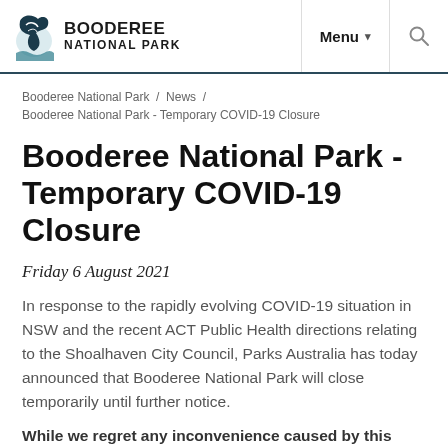Booderee National Park — Menu [navigation header]
Booderee National Park / News / Booderee National Park - Temporary COVID-19 Closure
Booderee National Park - Temporary COVID-19 Closure
Friday 6 August 2021
In response to the rapidly evolving COVID-19 situation in NSW and the recent ACT Public Health directions relating to the Shoalhaven City Council, Parks Australia has today announced that Booderee National Park will close temporarily until further notice.
While we regret any inconvenience caused by this